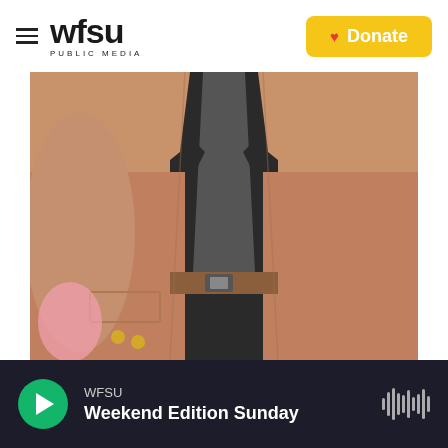WFSU PUBLIC MEDIA — Donate
[Figure (photo): Close-up photo of a person wearing a tan/camel blazer with gold buttons over a dark/black shirt and tie, with a brown leather belt visible. Colorful balloons (pink, gold) are visible in the background.]
WFSU
Weekend Edition Sunday